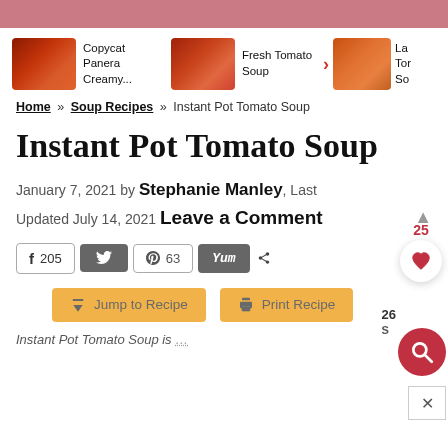[Figure (photo): Pink decorative top bar]
[Figure (photo): Thumbnail of Copycat Panera Creamy tomato soup]
Copycat Panera Creamy...
[Figure (photo): Thumbnail of Fresh Tomato Soup]
Fresh Tomato Soup
[Figure (photo): Thumbnail of La Tor So (partially visible)]
La Tor So
Home » Soup Recipes » Instant Pot Tomato Soup
Instant Pot Tomato Soup
January 7, 2021 by Stephanie Manley, Last Updated July 14, 2021 Leave a Comment
f 205 | tweet | p 63 | Yum | share 269 S
Jump to Recipe | Print Recipe
Instant Pot Tomato Soup is...